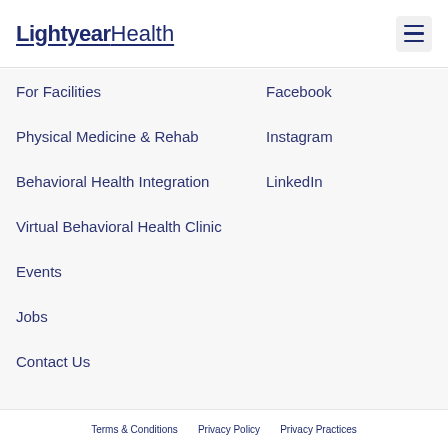Lightyear Health
For Facilities
Physical Medicine & Rehab
Behavioral Health Integration
Virtual Behavioral Health Clinic
Events
Jobs
Contact Us
Facebook
Instagram
LinkedIn
Terms & Conditions   Privacy Policy   Privacy Practices